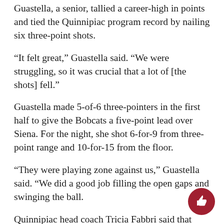Guastella, a senior, tallied a career-high in points and tied the Quinnipiac program record by nailing six three-point shots.
“It felt great,” Guastella said. “We were struggling, so it was crucial that a lot of [the shots] fell.”
Guastella made 5-of-6 three-pointers in the first half to give the Bobcats a five-point lead over Siena. For the night, she shot 6-for-9 from three-point range and 10-for-15 from the floor.
“They were playing zone against us,” Guastella said. “We did a good job filling the open gaps and swinging the ball.
Quinnipiac head coach Tricia Fabbri said that Guastella’s five blocks on defense, in addition to her successful offensive performance, was key in the victory.
“We needed her to be special tonight to get a win,” Fabb…